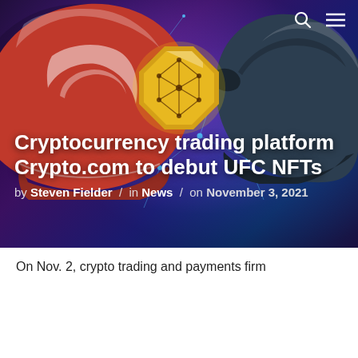[Figure (illustration): Hero image showing two cartoon boxing gloves (one red on the left, one dark blue/black on the right) bumping fists, with a gold octagonal UFC-style crypto coin in the center, against a blurred purple/blue arena background with glowing network nodes and lines.]
Cryptocurrency trading platform Crypto.com to debut UFC NFTs
by Steven Fielder / in News / on November 3, 2021
On Nov. 2, crypto trading and payments firm